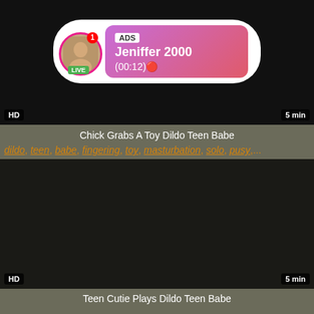[Figure (screenshot): Video thumbnail (black) with an advertisement overlay showing a profile photo with LIVE badge, and ad info panel with 'ADS', 'Jeniffer 2000', '(00:12)'. HD badge bottom-left, 5 min badge bottom-right.]
Chick Grabs A Toy Dildo Teen Babe
dildo, teen, babe, fingering, toy, masturbation, solo, pusy,...
[Figure (screenshot): Second video thumbnail (black/dark) with HD badge bottom-left and 5 min badge bottom-right.]
Teen Cutie Plays Dildo Teen Babe